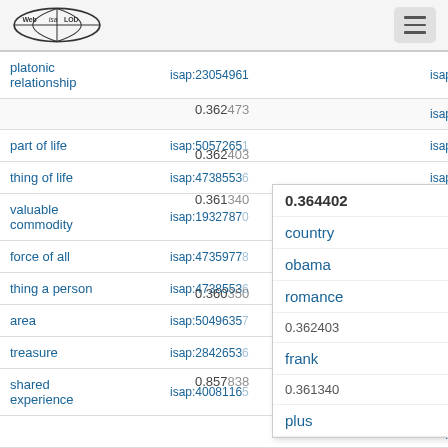Web isa LOD — navigation header with logo and hamburger menu
| concept | isap id | related | isap id 2 |
| --- | --- | --- | --- |
| platonic relationship | isap:23054961 | 0.364402 country | isap:2419571 |
|  |  | obama | isap:2576573 |
| part of life | isap:50572651 | 0.362473 romance | isap:2427179 |
| thing of life | isap:47385536 | 0.362403 frank | isap:2577800 |
| valuable commodity | isap:19327870 | 0.361340 plus | isap:1899004 |
| force of all | isap:47359778 | hour | isap:1890181 |
| thing a person | isap:47385536 | 0.360350 library | isap:2428198 |
| area | isap:50496357 | weve | isap:1895295 |
| treasure | isap:28426536 | 0.857838 child | isap:2614424 |
| shared experience | isap:40081165 | even | isap:1916135 |
|  |  | different level | isap:2592330 |